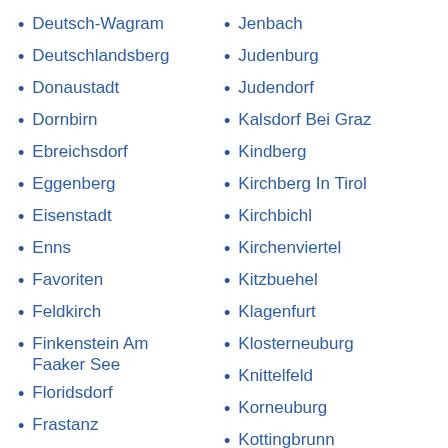Deutsch-Wagram
Deutschlandsberg
Donaustadt
Dornbirn
Ebreichsdorf
Eggenberg
Eisenstadt
Enns
Favoriten
Feldkirch
Finkenstein Am Faaker See
Floridsdorf
Frastanz
Freistadt
Jenbach
Judenburg
Judendorf
Kalsdorf Bei Graz
Kindberg
Kirchberg In Tirol
Kirchbichl
Kirchenviertel
Kitzbuehel
Klagenfurt
Klosterneuburg
Knittelfeld
Korneuburg
Kottingbrunn
Krems An Der Donau